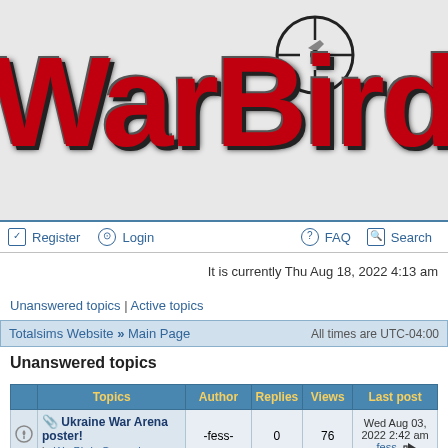[Figure (logo): WarBirds logo with large red bold text and crosshair/target icon above]
Register  Login    FAQ  Search
It is currently Thu Aug 18, 2022 4:13 am
Unanswered topics | Active topics
Totalsims Website » Main Page    All times are UTC-04:00
Unanswered topics
|  | Topics | Author | Replies | Views | Last post |
| --- | --- | --- | --- | --- | --- |
| 🔔 | 📎 Ukraine War Arena poster!
in WarBirds General | -fess- | 0 | 76 | Wed Aug 03, 2022 2:42 am
-fess- → |
| 🔔 | Can I do voiceovers |  |  |  | Sun Jul 31 |